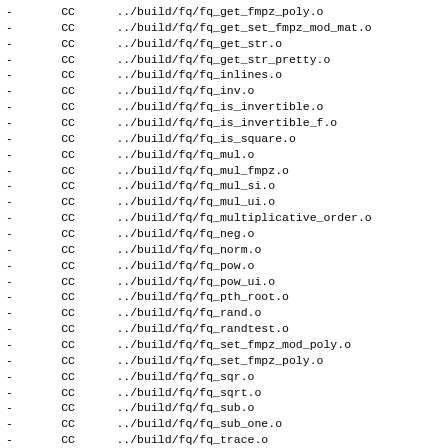-       CC      ../build/fq/fq_get_fmpz_poly.o
-       CC      ../build/fq/fq_get_set_fmpz_mod_mat.o
-       CC      ../build/fq/fq_get_str.o
-       CC      ../build/fq/fq_get_str_pretty.o
-       CC      ../build/fq/fq_inlines.o
-       CC      ../build/fq/fq_inv.o
-       CC      ../build/fq/fq_is_invertible.o
-       CC      ../build/fq/fq_is_invertible_f.o
-       CC      ../build/fq/fq_is_square.o
-       CC      ../build/fq/fq_mul.o
-       CC      ../build/fq/fq_mul_fmpz.o
-       CC      ../build/fq/fq_mul_si.o
-       CC      ../build/fq/fq_mul_ui.o
-       CC      ../build/fq/fq_multiplicative_order.o
-       CC      ../build/fq/fq_neg.o
-       CC      ../build/fq/fq_norm.o
-       CC      ../build/fq/fq_pow.o
-       CC      ../build/fq/fq_pow_ui.o
-       CC      ../build/fq/fq_pth_root.o
-       CC      ../build/fq/fq_rand.o
-       CC      ../build/fq/fq_randtest.o
-       CC      ../build/fq/fq_set_fmpz_mod_poly.o
-       CC      ../build/fq/fq_set_fmpz_poly.o
-       CC      ../build/fq/fq_sqr.o
-       CC      ../build/fq/fq_sqrt.o
-       CC      ../build/fq/fq_sub.o
-       CC      ../build/fq/fq_sub_one.o
-       CC      ../build/fq/fq_trace.o
- make[2]: Leaving directory '/home/opam/.opam/4.11/.opam
- make[2]: Entering directory '/home/opam/.opam/4.11/.opa